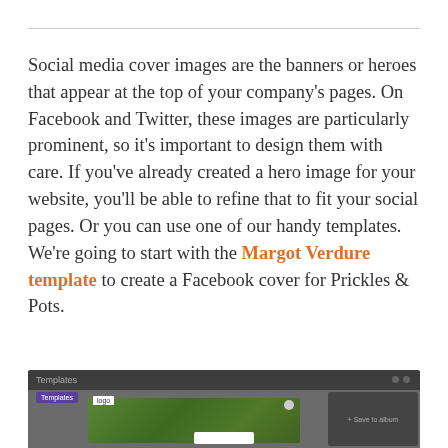Social media cover images are the banners or heroes that appear at the top of your company's pages. On Facebook and Twitter, these images are particularly prominent, so it's important to design them with care. If you've already created a hero image for your website, you'll be able to refine that to fit your social pages. Or you can use one of our handy templates. We're going to start with the Margot Verdure template to create a Facebook cover for Prickles & Pots.
[Figure (screenshot): Screenshot of a design tool interface showing the Margot Verdure template with a green/plant background image being edited]